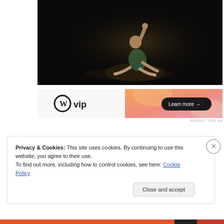[Figure (photo): A dancer or performer on a dark stage, sitting/crouching on the floor with one arm raised, lit by a single spotlight against a black background.]
[Figure (infographic): WordPress VIP advertisement banner with gradient orange/pink background. Shows WordPress logo (W in circle) followed by 'vip' text on the left, and a dark rounded button saying 'Learn more →' on the right.]
REPORT THIS AD
Privacy & Cookies: This site uses cookies. By continuing to use this website, you agree to their use.
To find out more, including how to control cookies, see here: Cookie Policy
Close and accept